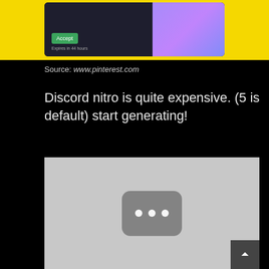[Figure (screenshot): Discord Nitro gift card popup on yellow background with Accept button and 'Expires in 44 hours' text, and colorful character illustration on right side]
Source: www.pinterest.com
Discord nitro is quite expensive. (5 is default) start generating!
[Figure (screenshot): Video thumbnail placeholder with gray background and rounded rectangle icon containing three white dots in the center, scroll-to-top button in bottom right corner]